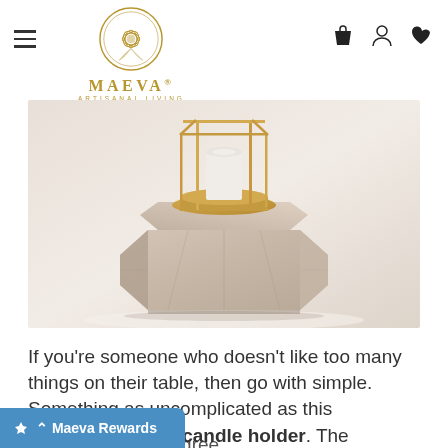MAEVA ARTISANAL LIVING — navigation header with hamburger menu and icons
[Figure (photo): Close-up photo of a geometric faceted stone/marble candle holder base with gold metal frame structure on top, on a white surface]
If you're someone who doesn't like too many things on their table, then go with simple. Something as uncomplicated as this Geometric metal candle holder. The presence of anything gold immediately lights up [are sure you will agree]